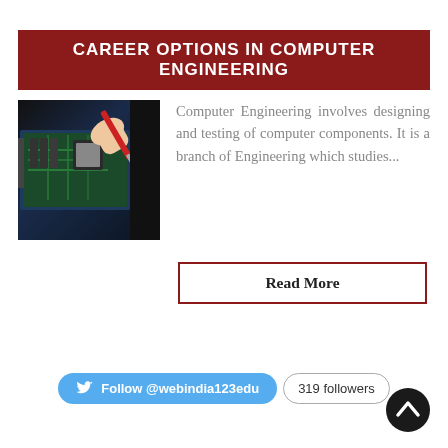CAREER OPTIONS IN COMPUTER ENGINEERING
[Figure (photo): Person using a tool on a computer motherboard/circuit board]
Computer Engineering involves designing and testing of computer components. It is a branch of Engineering which studies...
Read More
Follow @webindia123edu  319 followers